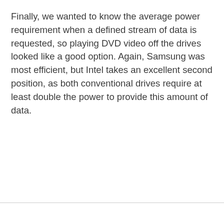Finally, we wanted to know the average power requirement when a defined stream of data is requested, so playing DVD video off the drives looked like a good option. Again, Samsung was most efficient, but Intel takes an excellent second position, as both conventional drives require at least double the power to provide this amount of data.